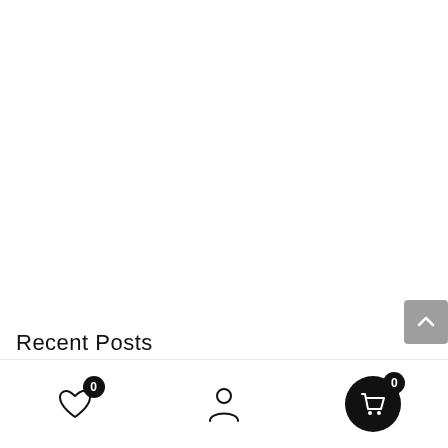[Figure (screenshot): Scroll-to-top button (grey rounded rectangle with upward chevron arrow) positioned at right edge of page]
Recent Posts
[Figure (screenshot): Bottom navigation bar with heart icon (badge: 0), person/user icon, and cart icon (badge: 0) in black circle]